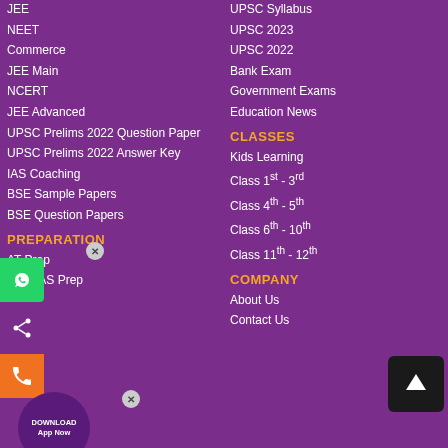JEE
NEET
Commerce
JEE Main
NCERT
JEE Advanced
UPSC Prelims 2022 Question Paper
UPSC Prelims 2022 Answer Key
IAS Coaching
BSE Sample Papers
BSE Question Papers
PREPARATION
AT Prep
Free IAS Prep
UPSC Syllabus
UPSC 2023
UPSC 2022
Bank Exam
Government Exams
Education News
CLASSES
Kids Learning
Class 1st - 3rd
Class 4th - 5th
Class 6th - 10th
Class 11th - 12th
COMPANY
About Us
Contact Us